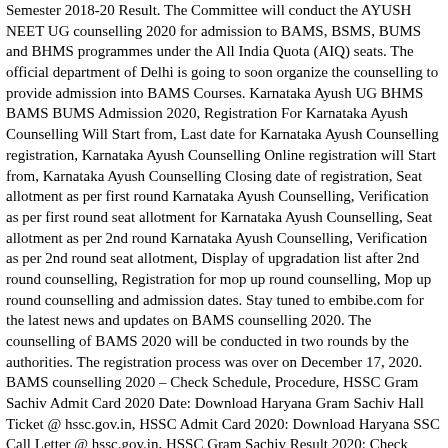Semester 2018-20 Result. The Committee will conduct the AYUSH NEET UG counselling 2020 for admission to BAMS, BSMS, BUMS and BHMS programmes under the All India Quota (AIQ) seats. The official department of Delhi is going to soon organize the counselling to provide admission into BAMS Courses. Karnataka Ayush UG BHMS BAMS BUMS Admission 2020, Registration For Karnataka Ayush Counselling Will Start from, Last date for Karnataka Ayush Counselling registration, Karnataka Ayush Counselling Online registration will Start from, Karnataka Ayush Counselling Closing date of registration, Seat allotment as per first round Karnataka Ayush Counselling, Verification as per first round seat allotment for Karnataka Ayush Counselling, Seat allotment as per 2nd round Karnataka Ayush Counselling, Verification as per 2nd round seat allotment, Display of upgradation list after 2nd round counselling, Registration for mop up round counselling, Mop up round counselling and admission dates. Stay tuned to embibe.com for the latest news and updates on BAMS counselling 2020. The counselling of BAMS 2020 will be conducted in two rounds by the authorities. The registration process was over on December 17, 2020. BAMS counselling 2020 – Check Schedule, Procedure, HSSC Gram Sachiv Admit Card 2020 Date: Download Haryana Gram Sachiv Hall Ticket @ hssc.gov.in, HSSC Admit Card 2020: Download Haryana SSC Call Letter @ hssc.gov.in, HSSC Gram Sachiv Result 2020: Check Steps to Download Result, Cutoff, Allocation List, India Post Recruitment 2020: Apply Online For 5224 Post Office Job Vacancies, Gramin Dak Sevak Application Form 2020: Apply Online For 5222 GDS Vacancies, Indian Army Salary: Check Indian Army Salary, Grade Pay, Allowances as Per Rank, Late Smt Sunita Devi Suresh Kumar Agarwal Scholarship, DAVV Result 2020: Devi Ahilya...